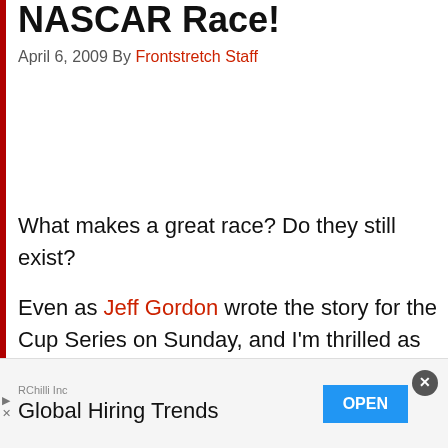NASCAR Race!
April 6, 2009 By Frontstretch Staff
What makes a great race? Do they still exist?
Even as Jeff Gordon wrote the story for the Cup Series on Sunday, and I'm thrilled as all heck for him, the racing still was, well, a bit boring. Yes, he broke his Cup losing streak at Texas where he had never won before. And there were a few moments where tempers on the track got a little heated… sort of. The cars were flying down the
RChilli Inc
Global Hiring Trends
OPEN